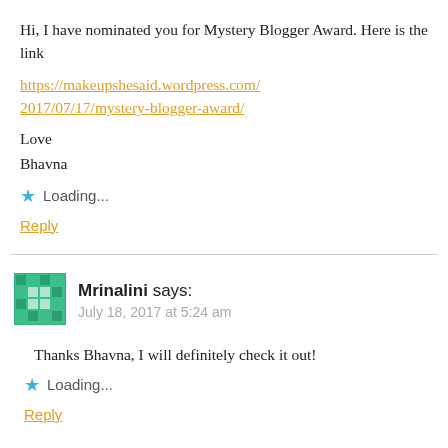Hi, I have nominated you for Mystery Blogger Award. Here is the link
https://makeupshesaid.wordpress.com/2017/07/17/mystery-blogger-award/
Love
Bhavna
Loading...
Reply
Mrinalini says:
July 18, 2017 at 5:24 am
Thanks Bhavna, I will definitely check it out!
Loading...
Reply